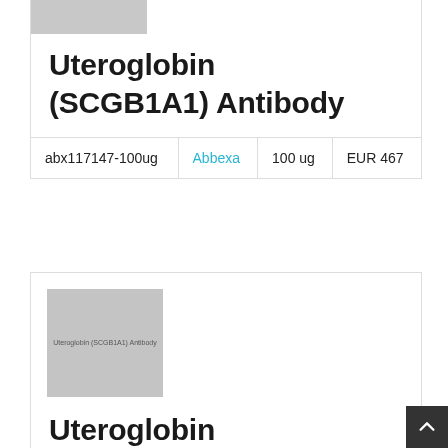[Figure (photo): Gray placeholder image at top of first product card]
Uteroglobin (SCGB1A1) Antibody
|  |  |  |  |
| --- | --- | --- | --- |
| abx117147-100ug | Abbexa | 100 ug | EUR 467 |
[Figure (photo): Gray placeholder image with text 'Uteroglobin (SCGB1A1) Antibody' inside second product card]
Uteroglobin (SCGB1A1) Antibody